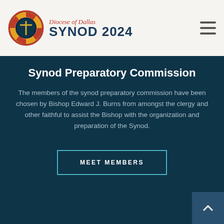Diocese of Dallas SYNOD 2024
Synod Preparatory Commission
The members of the synod preparatory commission have been chosen by Bishop Edward J. Burns from amongst the clergy and other faithful to assist the Bishop with the organization and preparation of the Synod.
MEET MEMBERS